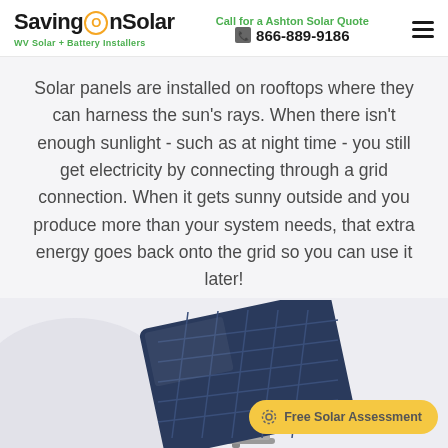SavingOnSolar — WV Solar + Battery Installers | Call for a Ashton Solar Quote | 866-889-9186
Solar panels are installed on rooftops where they can harness the sun's rays. When there isn't enough sunlight - such as at night time - you still get electricity by connecting through a grid connection. When it gets sunny outside and you produce more than your system needs, that extra energy goes back onto the grid so you can use it later!
[Figure (illustration): Solar panel mounted on a pole/stand, partially visible at bottom of page, with a white arc shape behind it on the left.]
Free Solar Assessment